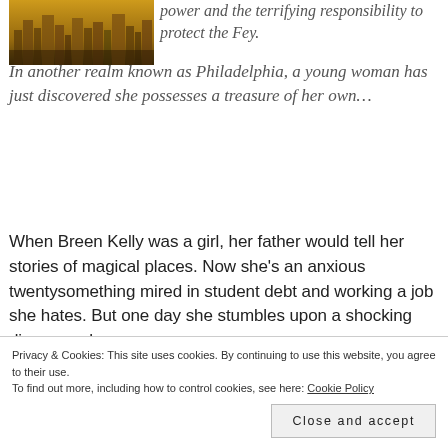[Figure (photo): Aerial cityscape photo showing urban skyline with warm golden-brown tones, buildings visible from above.]
power and the terrifying responsibility to protect the Fey. In another realm known as Philadelphia, a young woman has just discovered she possesses a treasure of her own…
When Breen Kelly was a girl, her father would tell her stories of magical places. Now she's an anxious twentysomething mired in student debt and working a job she hates. But one day she stumbles upon a shocking discovery: her
Privacy & Cookies: This site uses cookies. By continuing to use this website, you agree to their use.
To find out more, including how to control cookies, see here: Cookie Policy
Close and accept